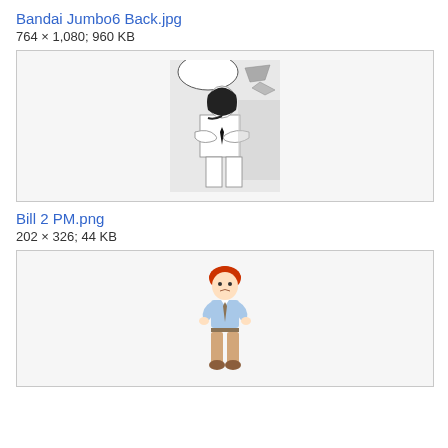Bandai Jumbo6 Back.jpg
764 × 1,080; 960 KB
[Figure (illustration): Manga-style black and white illustration of a character with crossed arms wearing a shirt and tie, with a speech bubble and another character partially visible at top right]
Bill 2 PM.png
202 × 326; 44 KB
[Figure (illustration): Colored cartoon illustration of a red-haired boy wearing a light blue short-sleeve shirt, tan pants, and brown shoes, standing with hands on hips]